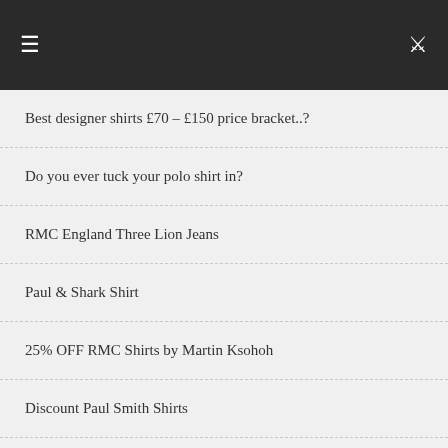[Figure (other): Dark navigation bar with hamburger menu icon on left and search icon on right]
Best designer shirts £70 – £150 price bracket..?
Do you ever tuck your polo shirt in?
RMC England Three Lion Jeans
Paul & Shark Shirt
25% OFF RMC Shirts by Martin Ksohoh
Discount Paul Smith Shirts
Boss Orange – A Classic by Hugo Boss
Anti-Fashion
Alien Fashion – Star Wars Jeans
Armani Shirts and more…